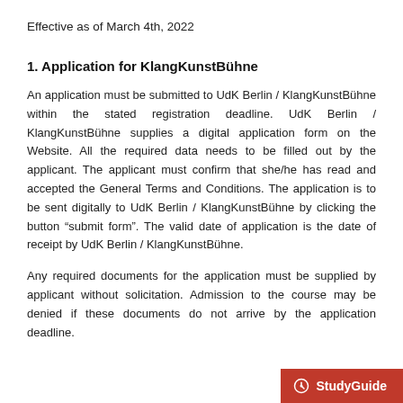Effective as of March 4th, 2022
1. Application for KlangKunstBühne
An application must be submitted to UdK Berlin / KlangKunstBühne within the stated registration deadline. UdK Berlin / KlangKunstBühne supplies a digital application form on the Website. All the required data needs to be filled out by the applicant. The applicant must confirm that she/he has read and accepted the General Terms and Conditions. The application is to be sent digitally to UdK Berlin / KlangKunstBühne by clicking the button “submit form”. The valid date of application is the date of receipt by UdK Berlin / KlangKunstBühne.
Any required documents for the application must be supplied by applicant without solicitation. Admission to the course may be denied if these documents do not arrive by the application deadline.